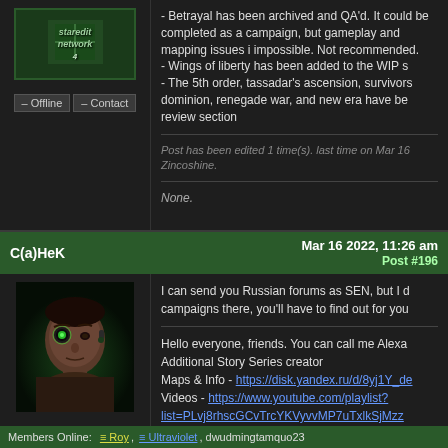[Figure (logo): Staredit Network logo in italic stylized text on dark green background]
- Betrayal has been archived and QA'd. It could be completed as a campaign, but gameplay and mapping issues make it a hard or impossible. Not recommended.
- Wings of liberty has been added to the WIP s
- The 5th order, tassadar's ascension, survivors, fall of the dominion, renegade war, and new era have been added to the review section
Post has been edited 1 time(s). last time on Mar 16 Zincoshine.
None.
C(a)HeK    Mar 16 2022, 11:26 am    Post #196
[Figure (photo): Avatar of a soldier/mercenary character with a cybernetic eye implant, dark moody portrait]
I can send you Russian forums as SEN, but I d campaigns there, you'll have to find out for you
Hello everyone, friends. You can call me Alexa
Additional Story Series creator
Maps & Info - https://disk.yandex.ru/d/8yj1Y_de
Videos - https://www.youtube.com/playlist?list=PLvj8rhscGCvTrcYKVyvvMP7uTxlkSjMzz
Members Online:  Roy,  Ultraviolet, dwudmingtamquo23